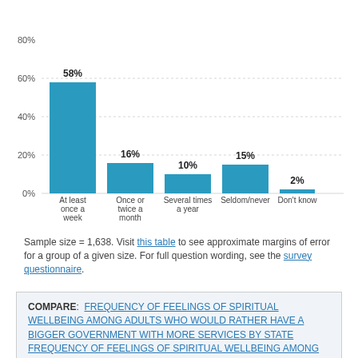[Figure (bar-chart): Frequency of religious service attendance]
Sample size = 1,638. Visit this table to see approximate margins of error for a group of a given size. For full question wording, see the survey questionnaire.
COMPARE: FREQUENCY OF FEELINGS OF SPIRITUAL WELLBEING AMONG ADULTS WHO WOULD RATHER HAVE A BIGGER GOVERNMENT WITH MORE SERVICES BY STATE   FREQUENCY OF FEELINGS OF SPIRITUAL WELLBEING AMONG ADULTS IN